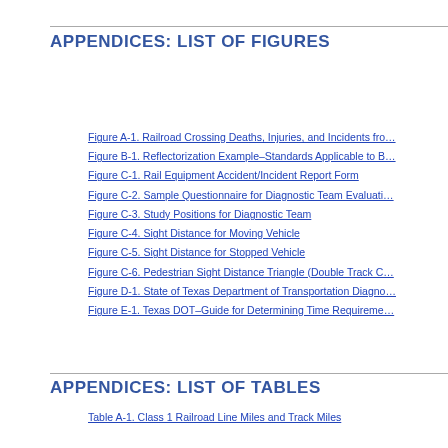APPENDICES: LIST OF FIGURES
Figure A-1. Railroad Crossing Deaths, Injuries, and Incidents fro…
Figure B-1. Reflectorization Example–Standards Applicable to B…
Figure C-1. Rail Equipment Accident/Incident Report Form
Figure C-2. Sample Questionnaire for Diagnostic Team Evaluati…
Figure C-3. Study Positions for Diagnostic Team
Figure C-4. Sight Distance for Moving Vehicle
Figure C-5. Sight Distance for Stopped Vehicle
Figure C-6. Pedestrian Sight Distance Triangle (Double Track C…
Figure D-1. State of Texas Department of Transportation Diagno…
Figure E-1. Texas DOT–Guide for Determining Time Requireme…
APPENDICES: LIST OF TABLES
Table A-1. Class 1 Railroad Line Miles and Track Miles